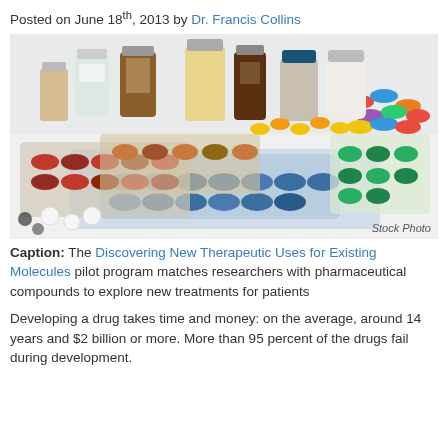Posted on June 18th, 2013 by Dr. Francis Collins
[Figure (photo): Assortment of pharmaceutical drugs including blister packs of colorful capsules and tablets, and medicine bottles. Stock Photo credit shown.]
Caption: The Discovering New Therapeutic Uses for Existing Molecules pilot program matches researchers with pharmaceutical compounds to explore new treatments for patients
Developing a drug takes time and money: on the average, around 14 years and $2 billion or more. More than 95 percent of the drugs fail during development.